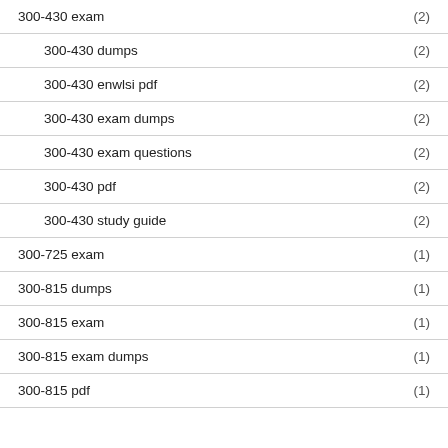300-430 exam (2)
300-430 dumps (2)
300-430 enwlsi pdf (2)
300-430 exam dumps (2)
300-430 exam questions (2)
300-430 pdf (2)
300-430 study guide (2)
300-725 exam (1)
300-815 dumps (1)
300-815 exam (1)
300-815 exam dumps (1)
300-815 pdf (1)